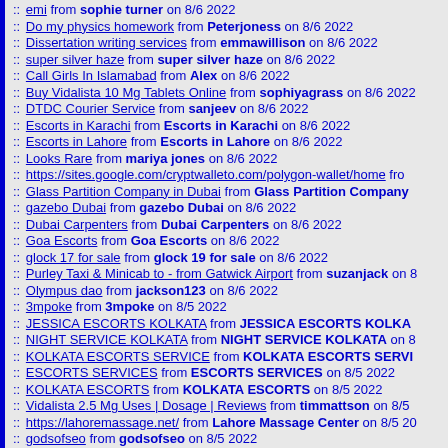:: emi from sophie turner on 8/6 2022
:: Do my physics homework from Peterjoness on 8/6 2022
:: Dissertation writing services from emmawillison on 8/6 2022
:: super silver haze from super silver haze on 8/6 2022
:: Call Girls In Islamabad from Alex on 8/6 2022
:: Buy Vidalista 10 Mg Tablets Online from sophiyagrass on 8/6 2022
:: DTDC Courier Service from sanjeev on 8/6 2022
:: Escorts in Karachi from Escorts in Karachi on 8/6 2022
:: Escorts in Lahore from Escorts in Lahore on 8/6 2022
:: Looks Rare from mariya jones on 8/6 2022
::  https://sites.google.com/cryptwalleto.com/polygon-wallet/home from
:: Glass Partition Company in Dubai from Glass Partition Company
:: gazebo Dubai from gazebo Dubai on 8/6 2022
:: Dubai Carpenters from Dubai Carpenters on 8/6 2022
:: Goa Escorts from Goa Escorts on 8/6 2022
:: glock 17 for sale from glock 19 for sale on 8/6 2022
:: Purley Taxi & Minicab to - from Gatwick Airport from suzanjack on 8/
:: Olympus dao from jackson123 on 8/6 2022
:: 3mpoke from 3mpoke on 8/5 2022
:: JESSICA ESCORTS KOLKATA from JESSICA ESCORTS KOLKA
:: NIGHT SERVICE KOLKATA from NIGHT SERVICE KOLKATA on 8/
:: KOLKATA ESCORTS SERVICE from KOLKATA ESCORTS SERVI
:: ESCORTS SERVICES from ESCORTS SERVICES on 8/5 2022
:: KOLKATA ESCORTS from KOLKATA ESCORTS on 8/5 2022
:: Vidalista 2.5 Mg Uses | Dosage | Reviews from timmattson on 8/5
:: https://lahoremassage.net/ from Lahore Massage Center on 8/5 20
:: godsofseo from godsofseo on 8/5 2022
:: Vidalista 2.5 Mg High Quality ED Drug [Fast Shipping] from phyllis
:: fiftyshadesofseo from fiftyshadesofseo on 8/5 2022
:: canabis canada from canabis canada on 8/5 2022